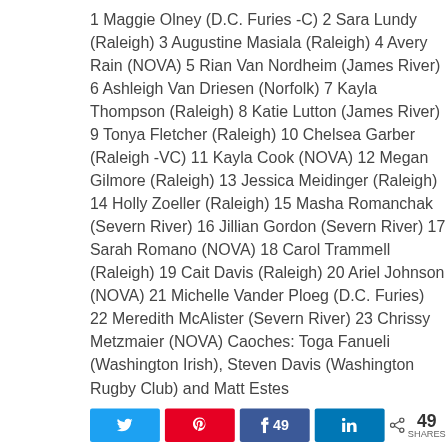1 Maggie Olney (D.C. Furies -C) 2 Sara Lundy (Raleigh) 3 Augustine Masiala (Raleigh) 4 Avery Rain (NOVA) 5 Rian Van Nordheim (James River) 6 Ashleigh Van Driesen (Norfolk) 7 Kayla Thompson (Raleigh) 8 Katie Lutton (James River) 9 Tonya Fletcher (Raleigh) 10 Chelsea Garber (Raleigh -VC) 11 Kayla Cook (NOVA) 12 Megan Gilmore (Raleigh) 13 Jessica Meidinger (Raleigh) 14 Holly Zoeller (Raleigh) 15 Masha Romanchak (Severn River) 16 Jillian Gordon (Severn River) 17 Sarah Romano (NOVA) 18 Carol Trammell (Raleigh) 19 Cait Davis (Raleigh) 20 Ariel Johnson (NOVA) 21 Michelle Vander Ploeg (D.C. Furies) 22 Meredith McAlister (Severn River) 23 Chrissy Metzmaier (NOVA) Caoches: Toga Fanueli (Washington Irish), Steven Davis (Washington Rugby Club) and Matt Estes
[Figure (other): Social share buttons: Twitter, Pinterest (A pin), Facebook (f 49), LinkedIn (in), and a share count showing < 49 SHARES]